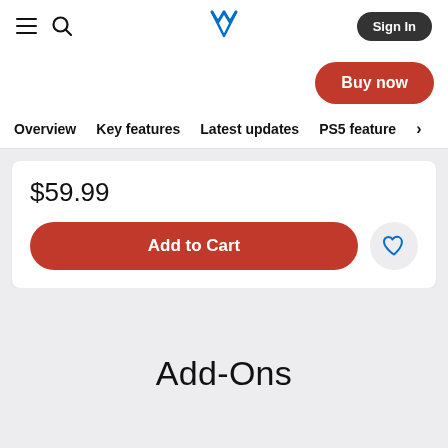PlayStation Store navigation bar with hamburger menu, search icon, PlayStation logo, and Sign In button
Buy now
Overview   Key features   Latest updates   PS5 feature ›
$59.99
Add to Cart
Add-Ons